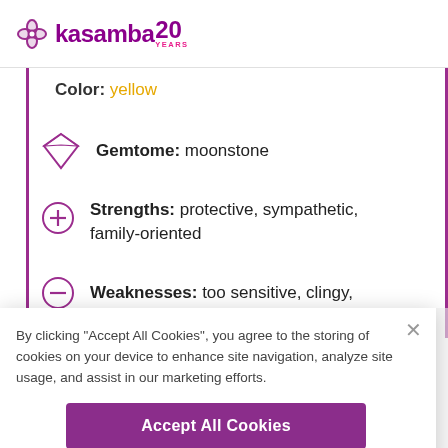kasamba 20 YEARS
Color: yellow
Gemstone: moonstone
Strengths: protective, sympathetic, family-oriented
Weaknesses: too sensitive, clingy,
By clicking "Accept All Cookies", you agree to the storing of cookies on your device to enhance site navigation, analyze site usage, and assist in our marketing efforts.
Accept All Cookies